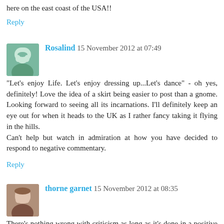here on the east coast of the USA!!
Reply
Rosalind 15 November 2012 at 07:49
"Let's enjoy Life. Let's enjoy dressing up...Let's dance" - oh yes, definitely! Love the idea of a skirt being easier to post than a gnome. Looking forward to seeing all its incarnations. I'll definitely keep an eye out for when it heads to the UK as I rather fancy taking it flying in the hills.
Can't help but watch in admiration at how you have decided to respond to negative commentary.
Reply
thorne garnet 15 November 2012 at 08:35
There's nothing wrong with criticism as long as it's done in a positive way. "You suck" or "your ugly" is uncalled for. That's just mean. I always wonder about the person who posted nasty things about others. What's wrong in their life that they have too run someone else down to feel good